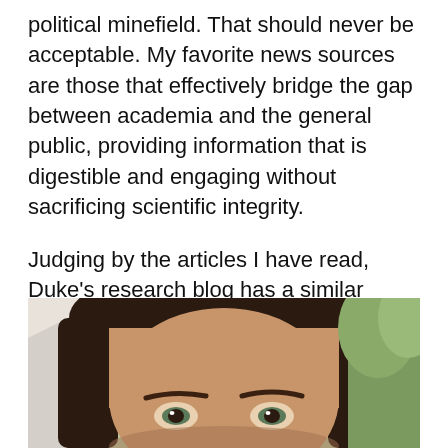political minefield. That should never be acceptable. My favorite news sources are those that effectively bridge the gap between academia and the general public, providing information that is digestible and engaging without sacrificing scientific integrity.
Judging by the articles I have read, Duke's research blog has a similar mission, and it's a mission I firmly believe in.
[Figure (photo): Close-up photo of a person with dark hair, showing forehead and eyes, with a building and trees visible in the background.]